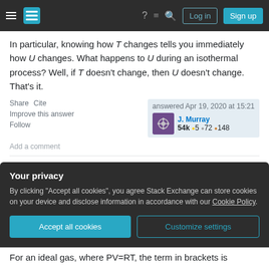Stack Exchange navigation bar with hamburger menu, logo, icons, Log in and Sign up buttons
In particular, knowing how T changes tells you immediately how U changes. What happens to U during an isothermal process? Well, if T doesn't change, then U doesn't change. That's it.
Share  Cite
Improve this answer
Follow
Add a comment
answered Apr 19, 2020 at 15:21
J. Murray
54k ● 5 ● 72 ● 148
For an arbitrary solid, liquid, or gas, it follows from the
Your privacy
By clicking "Accept all cookies", you agree Stack Exchange can store cookies on your device and disclose information in accordance with our Cookie Policy.
Accept all cookies   Customize settings
For an ideal gas, where PV=RT, the term in brackets is